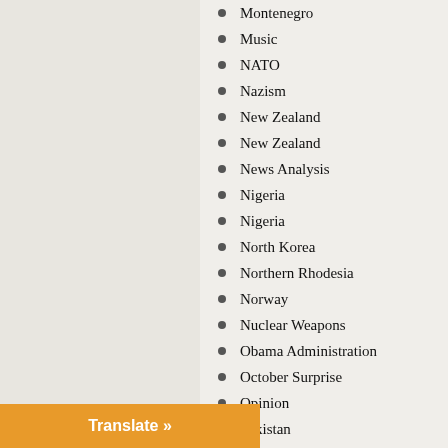Montenegro
Music
NATO
Nazism
New Zealand
New Zealand
News Analysis
Nigeria
Nigeria
North Korea
Northern Rhodesia
Norway
Nuclear Weapons
Obama Administration
October Surprise
Opinion
Pakistan
Palestine
Pentagon